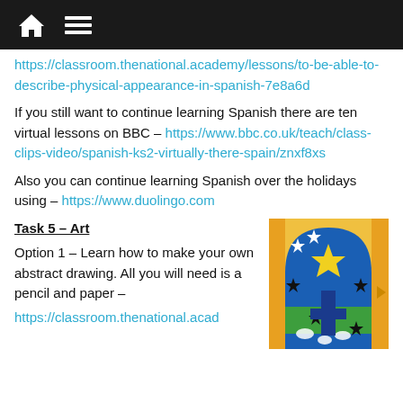Navigation bar with home icon and menu icon
https://classroom.thenational.academy/lessons/to-be-able-to-describe-physical-appearance-in-spanish-7e8a6d
If you still want to continue learning Spanish there are ten virtual lessons on BBC – https://www.bbc.co.uk/teach/class-clips-video/spanish-ks2-virtually-there-spain/znxf8xs
Also you can continue learning Spanish over the holidays using – https://www.duolingo.com
Task 5 – Art
Option 1 – Learn how to make your own abstract drawing. All you will need is a pencil and paper –
https://classroom.thenational.acad
[Figure (illustration): Colorful abstract art illustration in Matisse style showing a blue arch with a yellow star, black stars, green landscape, and decorative shapes on orange/yellow background]